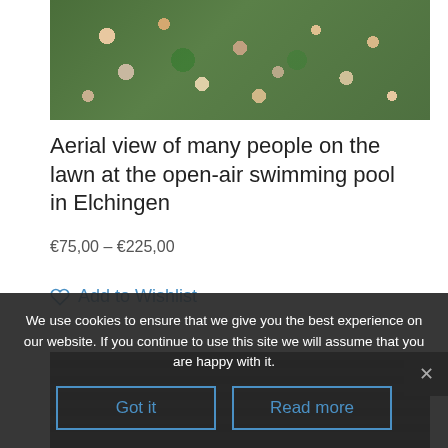[Figure (photo): Aerial view of many people lying on a green lawn at an open-air swimming pool, seen from above with colorful towels and items scattered around.]
Aerial view of many people on the lawn at the open-air swimming pool in Elchingen
€75,00 – €225,00
Add to Wishlist
[Figure (photo): Partially visible dark image below, appearing to show a tiled or textured surface, mostly obscured by cookie consent banner.]
We use cookies to ensure that we give you the best experience on our website. If you continue to use this site we will assume that you are happy with it.
Got it
Read more